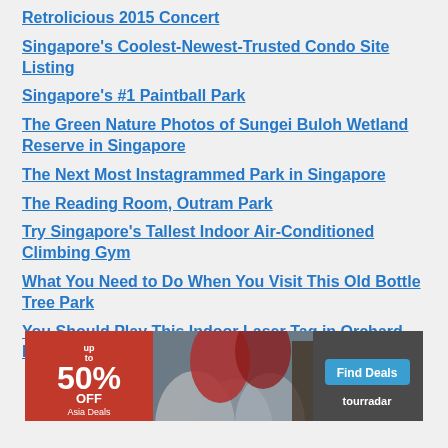Retrolicious 2015 Concert
Singapore's Coolest-Newest-Trusted Condo Site Listing
Singapore's #1 Paintball Park
The Green Nature Photos of Sungei Buloh Wetland Reserve in Singapore
The Next Most Instagrammed Park in Singapore
The Reading Room, Outram Park
Try Singapore's Tallest Indoor Air-Conditioned Climbing Gym
What You Need to Do When You Visit This Old Bottle Tree Park
You Should Play This Indoor Laser Tag in Orchard Road
[Figure (infographic): Tourradar advertisement banner: red background on left with 'up to 50% OFF Asia Deals' text, center shows photo of colorful Asian umbrellas and people, right side has blue 'Find Deals' button and tourradar logo]